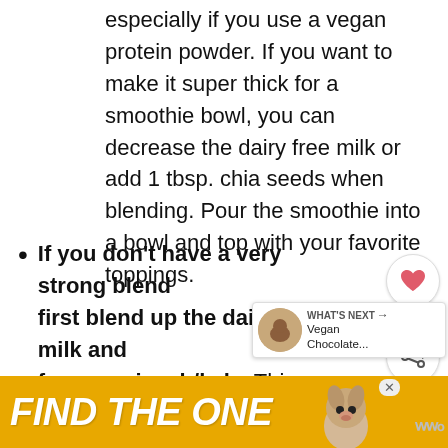especially if you use a vegan protein powder. If you want to make it super thick for a smoothie bowl, you can decrease the dairy free milk or add 1 tbsp. chia seeds when blending. Pour the smoothie into a bowl and top with your favorite toppings.
If you don't have a very strong blender, first blend up the dairy free milk and frozen spinach/kale. This helps to ensure that there will not be chunks of spinach in your smoothie. Once it's smooth, add the rest of the ingredients (except the cacao
[Figure (screenshot): Social media UI overlay showing heart/like button, count of 866, share button, and 'What's Next' card showing Vegan Chocolate...]
[Figure (photo): Advertisement banner with yellow/gold background reading FIND THE ONE with dog photo]